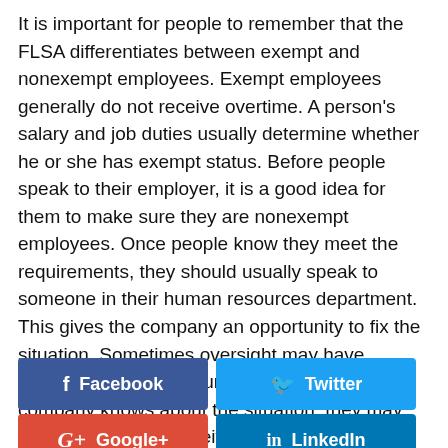It is important for people to remember that the FLSA differentiates between exempt and nonexempt employees. Exempt employees generally do not receive overtime. A person's salary and job duties usually determine whether he or she has exempt status. Before people speak to their employer, it is a good idea for them to make sure they are nonexempt employees. Once people know they meet the requirements, they should usually speak to someone in their human resources department. This gives the company an opportunity to fix the situation. Sometimes oversight may have resulted in a person's unpaid wages. Once the company knows about the situation, they may make sure people receive their unpaid wages.
[Figure (other): Social sharing buttons: Facebook (blue), Twitter (light blue), Google+ (red), LinkedIn (dark blue)]